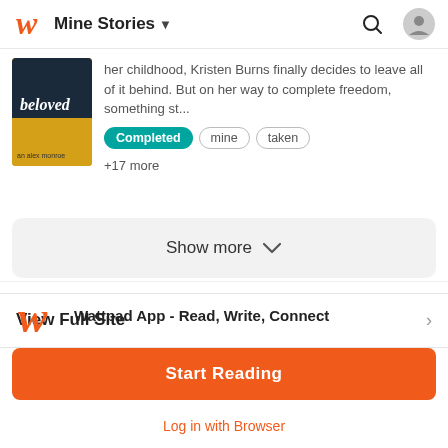Mine Stories
her childhood, Kristen Burns finally decides to leave all of it behind. But on her way to complete freedom, something st...
Completed   mine   taken
+17 more
Show more
View Full Site
Language
Wattpad App - Read, Write, Connect
Start Reading
Log in with Browser